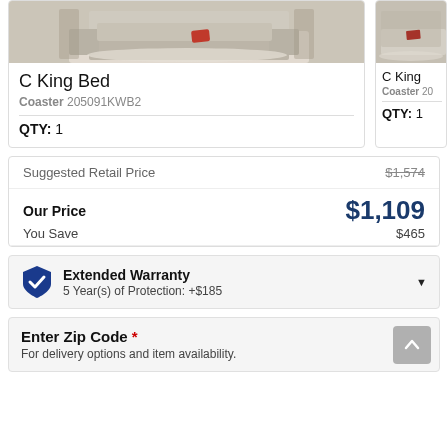[Figure (photo): Product card showing C King Bed with image of living room furniture including a beige couch and red pillow on a rug]
C King Bed
Coaster 205091KWB2
QTY: 1
[Figure (photo): Partially visible second product card showing C King bed from Coaster brand]
C King
Coaster 20
QTY: 1
|  |  |
| --- | --- |
| Suggested Retail Price | $1,574 |
| Our Price | $1,109 |
| You Save | $465 |
Extended Warranty
5 Year(s) of Protection: +$185
Enter Zip Code *
For delivery options and item availability.